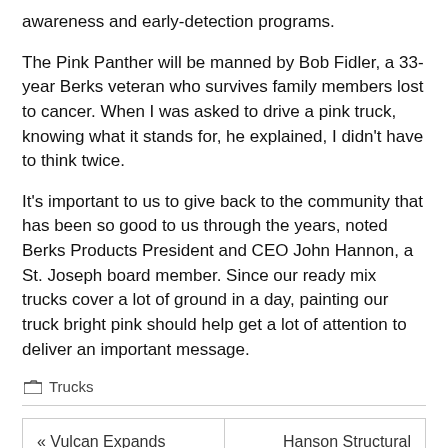awareness and early-detection programs.
The Pink Panther will be manned by Bob Fidler, a 33-year Berks veteran who survives family members lost to cancer. When I was asked to drive a pink truck, knowing what it stands for, he explained, I didn't have to think twice.
It's important to us to give back to the community that has been so good to us through the years, noted Berks Products President and CEO John Hannon, a St. Joseph board member. Since our ready mix trucks cover a lot of ground in a day, painting our truck bright pink should help get a lot of attention to deliver an important message.
Trucks
« Vulcan Expands Construction Materials Group Responsibilities For Hill, Bass
Hanson Structural Delivers Near-Record, 195-Ft. Girders For Design-Build Team »